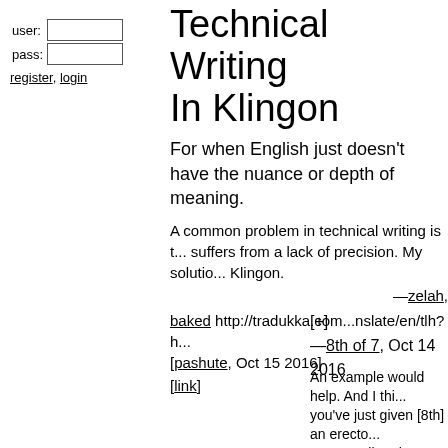user: [input] pass: [input] register, login
Technical Writing In Klingon
For when English just doesn't have the nuance or depth of meaning.
A common problem in technical writing is t... suffers from a lack of precision. My solutio... Klingon.
—zelah,
baked http://tradukka.com...nslate/en/tlh?h... [pashute, Oct 15 2016]
[link]
[+]
—8th of 7, Oct 14 2016
An example would help. And I thi... you've just given [8th] an erecto... —MaxwellBuchanan, Oct